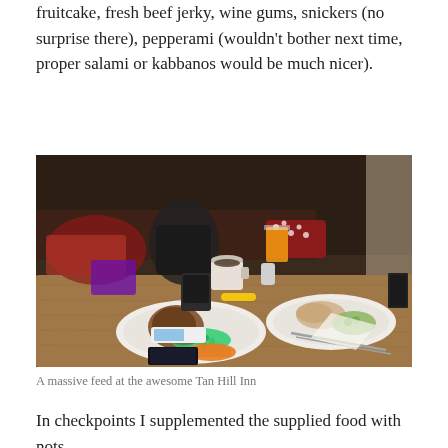fruitcake, fresh beef jerky, wine gums, snickers (no surprise there), pepperami (wouldn't bother next time, proper salami or kabbanos would be much nicer).
[Figure (photo): A pub table covered with hiking gear, a backpack, phone, power bank, and two plates of hot food (peas, carrots, meat, bread, vegetables) along with drinks including orange juice and a mug of tea, inside what appears to be the Tan Hill Inn.]
A massive feed at the awesome Tan Hill Inn
In checkpoints I supplemented the supplied food with nots